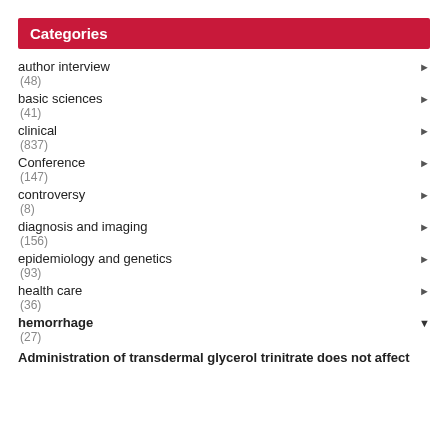Categories
author interview
(48)
basic sciences
(41)
clinical
(837)
Conference
(147)
controversy
(8)
diagnosis and imaging
(156)
epidemiology and genetics
(93)
health care
(36)
hemorrhage
(27)
Administration of transdermal glycerol trinitrate does not affect